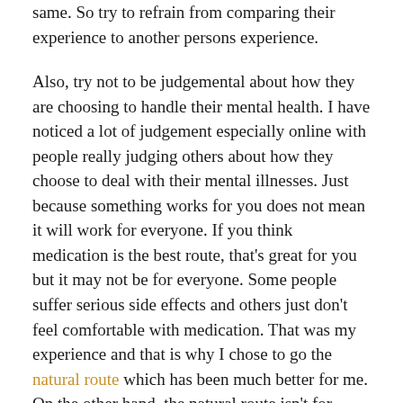same. So try to refrain from comparing their experience to another persons experience.
Also, try not to be judgemental about how they are choosing to handle their mental health. I have noticed a lot of judgement especially online with people really judging others about how they choose to deal with their mental illnesses. Just because something works for you does not mean it will work for everyone. If you think medication is the best route, that's great for you but it may not be for everyone. Some people suffer serious side effects and others just don't feel comfortable with medication. That was my experience and that is why I chose to go the natural route which has been much better for me. On the other hand, the natural route isn't for everyone and some people may not feel better using natural ways to deal with their mental health problem. They may choose to take medication for it and that's totally okay too. Again, people are different and they s[Feedback]e routes and see what can help them the most and stick with that.